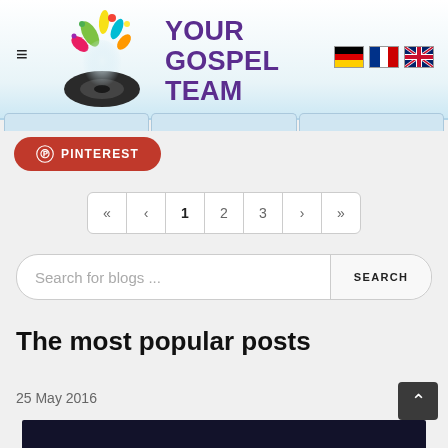CONTINUE READING...
[Figure (logo): Your Gospel Team logo with colorful splashes and a dark ring/record shape, purple text reading YOUR GOSPEL TEAM]
PINTEREST
« < 1 2 3 > »
Search for blogs ...
The most popular posts
25 May 2016
[Figure (photo): Dark stage/concert image at bottom of page]